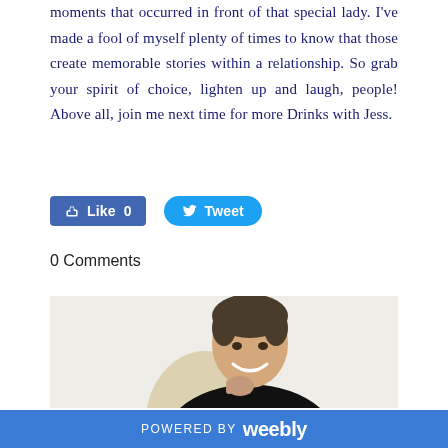moments that occurred in front of that special lady.  I've made a fool of myself plenty of times to know that those  create memorable stories within a relationship.  So grab your spirit of choice, lighten up and laugh, people!  Above all,  join me next time for more Drinks with Jess.
[Figure (screenshot): Facebook Like button showing Like 0 and Twitter Tweet button]
0 Comments
[Figure (photo): Smiling young man with dark hair, hand near chin, wearing a dark jacket, against a light background with a beige circular element]
POWERED BY weebly